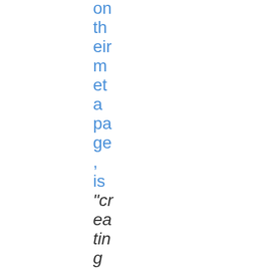on their meta page, is "creating and ex